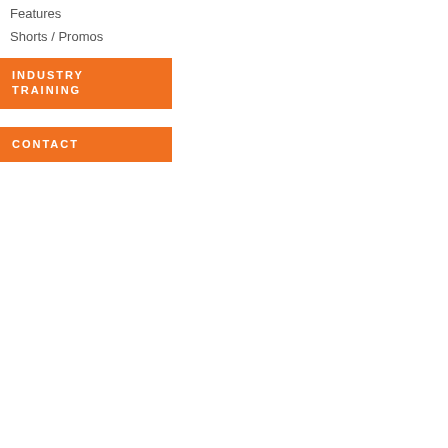Features
Shorts / Promos
INDUSTRY TRAINING
CONTACT